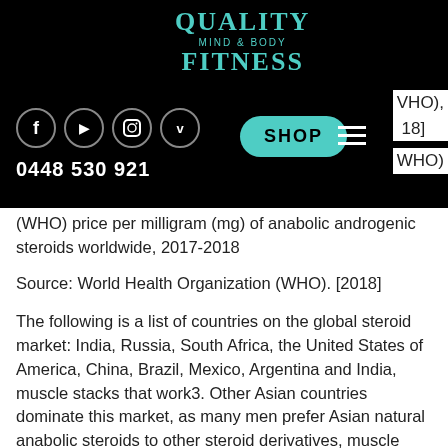[Figure (logo): Quality Mind & Body Fitness logo with navigation bar, social media icons (Facebook, YouTube, Instagram, Vimeo), Shop button, hamburger menu, and phone number 0448 530 921 on black background]
(WHO) price per milligram (mg) of anabolic androgenic steroids worldwide, 2017-2018
Source: World Health Organization (WHO). [2018]
The following is a list of countries on the global steroid market: India, Russia, South Africa, the United States of America, China, Brazil, Mexico, Argentina and India, muscle stacks that work3. Other Asian countries dominate this market, as many men prefer Asian natural anabolic steroids to other steroid derivatives, muscle stacks that work4.